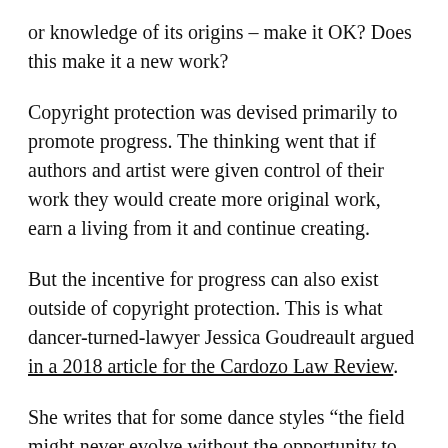or knowledge of its origins – make it OK? Does this make it a new work?
Copyright protection was devised primarily to promote progress. The thinking went that if authors and artist were given control of their work they would create more original work, earn a living from it and continue creating.
But the incentive for progress can also exist outside of copyright protection. This is what dancer-turned-lawyer Jessica Goudreault argued in a 2018 article for the Cardozo Law Review.
She writes that for some dance styles “the field might never evolve without the opportunity to copy,” which “sustains and encourages innovation.”
I would argue that this applies to the dances on